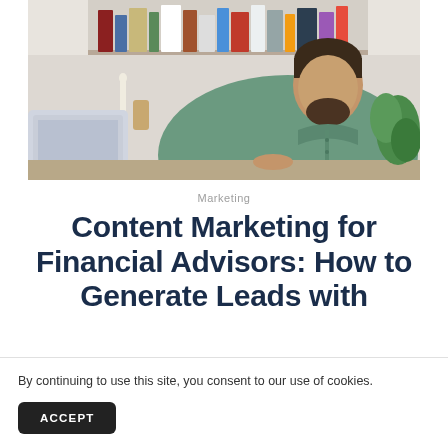[Figure (photo): A bearded man in a green button-up shirt sitting at a desk looking down, with a laptop visible on the left and a bookshelf with books in the background.]
Marketing
Content Marketing for Financial Advisors: How to Generate Leads with
By continuing to use this site, you consent to our use of cookies.